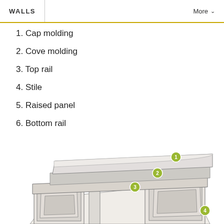WALLS   More
1. Cap molding
2. Cove molding
3. Top rail
4. Stile
5. Raised panel
6. Bottom rail
[Figure (illustration): Exploded diagram of wall wainscoting components including cap molding, cove molding, top rail, stile, raised panel, and bottom rail, with numbered callout circles (1, 2, 3 visible) on a perspective 3D view of the assembled panels.]